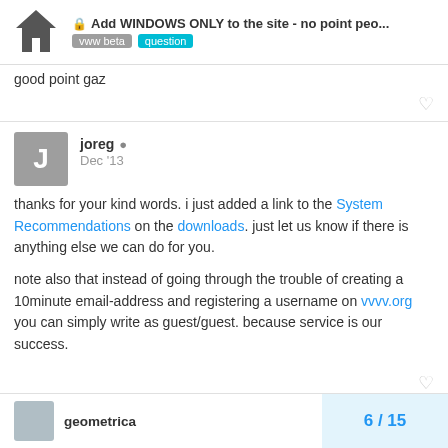Add WINDOWS ONLY to the site - no point peo... | vww beta | question
good point gaz
joreg Dec '13
thanks for your kind words. i just added a link to the System Recommendations on the downloads. just let us know if there is anything else we can do for you.

note also that instead of going through the trouble of creating a 10minute email-address and registering a username on vvvv.org you can simply write as guest/guest. because service is our success.
geometrica
6 / 15